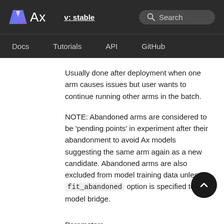Ax  v: stable  Search  Docs  Tutorials  API  GitHub
Usually done after deployment when one arm causes issues but user wants to continue running other arms in the batch.
NOTE: Abandoned arms are considered to be 'pending points' in experiment after their abandonment to avoid Ax models suggesting the same arm again as a new candidate. Abandoned arms are also excluded from model training data unless fit_abandoned option is specified to model bridge.
Parameters